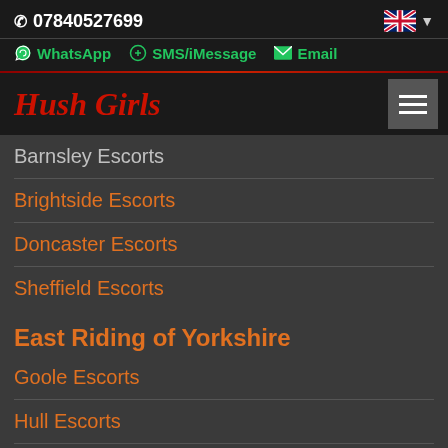📞 07840527699
WhatsApp  SMS/iMessage  Email
Hush Girls
Barnsley Escorts
Brightside Escorts
Doncaster Escorts
Sheffield Escorts
East Riding of Yorkshire
Goole Escorts
Hull Escorts
Preston Hull Escorts
Herefordshire